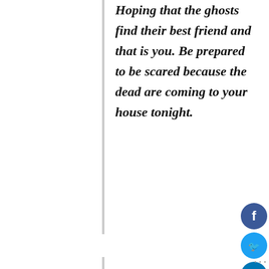Hoping that the ghosts find their best friend and that is you. Be prepared to be scared because the dead are coming to your house tonight.
May the scariest ghost be with you. Don't be shy about taking a handful of candies from strangers and wishing you the scariest Halloween, monster.
The best part about Halloween is seeing you